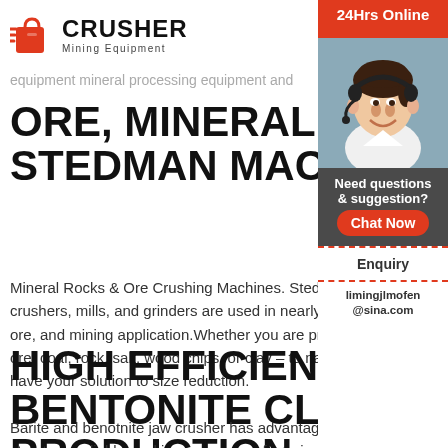[Figure (logo): Crusher Mining Equipment logo with red shopping bag icon and bold black text]
equipment mineral processing equipment and
ORE, MINERAL & SLAG CRUSHER | STEDMAN MACHINE COMPANY
Mineral Rocks & Ore Crushing Machines. Stedm… crushers, mills, and grinders are used in nearly e… ore, and mining application.Whether you are pro… ore, coal, rock, salt, wood chips, or clay – to nam… have your solution to size reduction.
HIGH EFFICIENT BARITE AND BENTONITE CLAY SLURRY PRODUCTION
Barite and benotnite jaw crusher has advantage… structure, reliable working, easy manufacturing and
[Figure (photo): Customer service representative woman with headset, smiling, with 24Hrs Online banner, Need questions & suggestion?, Chat Now button, Enquiry section, and limingjlmofen@sina.com contact]